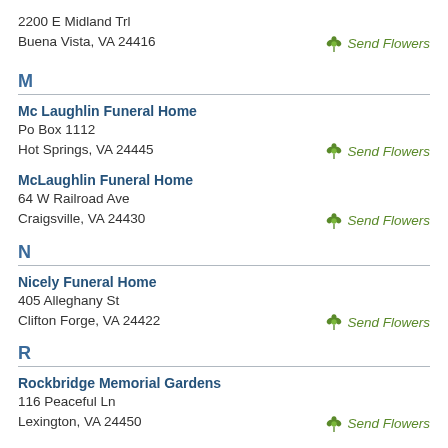2200 E Midland Trl
Buena Vista, VA 24416
Send Flowers
M
Mc Laughlin Funeral Home
Po Box 1112
Hot Springs, VA 24445
Send Flowers
McLaughlin Funeral Home
64 W Railroad Ave
Craigsville, VA 24430
Send Flowers
N
Nicely Funeral Home
405 Alleghany St
Clifton Forge, VA 24422
Send Flowers
R
Rockbridge Memorial Gardens
116 Peaceful Ln
Lexington, VA 24450
Send Flowers